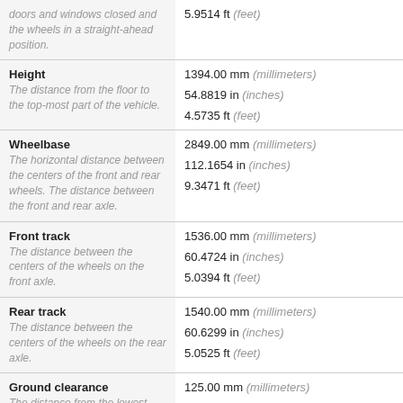| Property | Value |
| --- | --- |
| doors and windows closed and the wheels in a straight-ahead position. | 5.9514 ft (feet) |
| Height
The distance from the floor to the top-most part of the vehicle. | 1394.00 mm (millimeters)
54.8819 in (inches)
4.5735 ft (feet) |
| Wheelbase
The horizontal distance between the centers of the front and rear wheels. The distance between the front and rear axle. | 2849.00 mm (millimeters)
112.1654 in (inches)
9.3471 ft (feet) |
| Front track
The distance between the centers of the wheels on the front axle. | 1536.00 mm (millimeters)
60.4724 in (inches)
5.0394 ft (feet) |
| Rear track
The distance between the centers of the wheels on the rear axle. | 1540.00 mm (millimeters)
60.6299 in (inches)
5.0525 ft (feet) |
| Ground clearance
The distance from the lowest hanging point under | 125.00 mm (millimeters) |